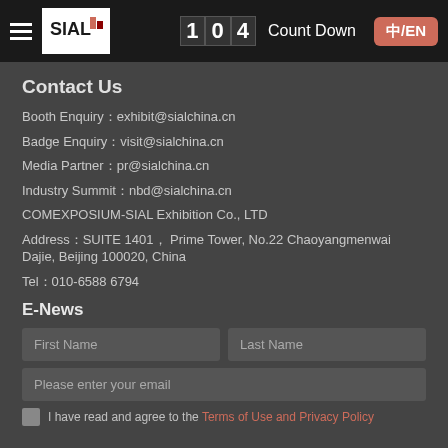SIAL logo | 104 Count Down | 中/EN
Contact Us
Booth Enquiry：exhibit@sialchina.cn
Badge Enquiry：visit@sialchina.cn
Media Partner：pr@sialchina.cn
Industry Summit：nbd@sialchina.cn
COMEXPOSIUM-SIAL Exhibition Co., LTD
Address：SUITE 1401， Prime Tower, No.22 Chaoyangmenwai Dajie, Beijing 100020, China
Tel：010-6588 6794
E-News
First Name | Last Name (form fields)
Please enter your email (form field)
I have read and agree to the Terms of Use and Privacy Policy